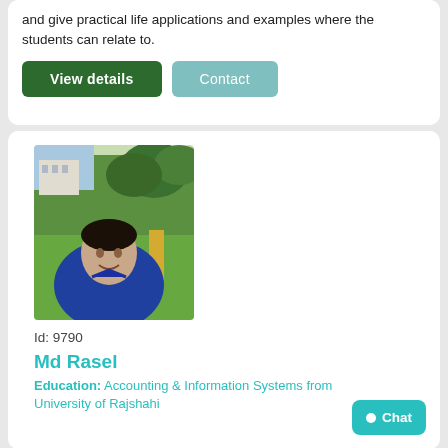and give practical life applications and examples where the students can relate to.
View details
Contact
[Figure (photo): Profile photo of a young man in a blue shirt, smiling outdoors on a green lawn with trees and a building in the background.]
Id: 9790
Md Rasel
Education: Accounting & Information Systems from University of Rajshahi
Chat